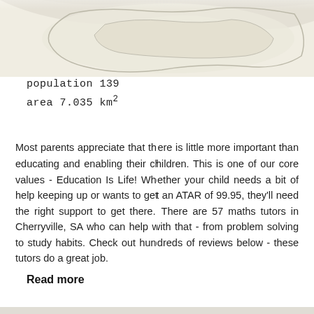[Figure (map): Partial map image of Cherryville area shown at the top of the page]
population 139
area 7.035 km²
Most parents appreciate that there is little more important than educating and enabling their children. This is one of our core values - Education Is Life! Whether your child needs a bit of help keeping up or wants to get an ATAR of 99.95, they'll need the right support to get there. There are 57 maths tutors in Cherryville, SA who can help with that - from problem solving to study habits. Check out hundreds of reviews below - these tutors do a great job.
Read more